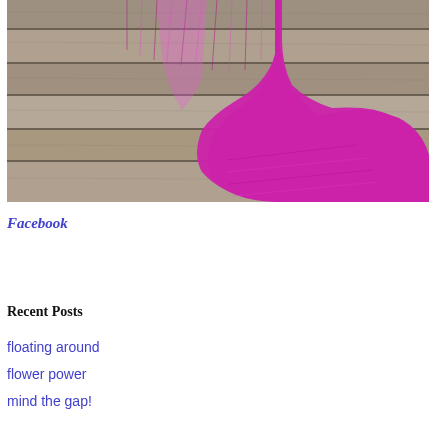[Figure (photo): A bright magenta/fuchsia knitted sock lying on weathered gray wooden planks. The sock shows ribbed texture and is photographed from above.]
Facebook
Recent Posts
floating around
flower power
mind the gap!